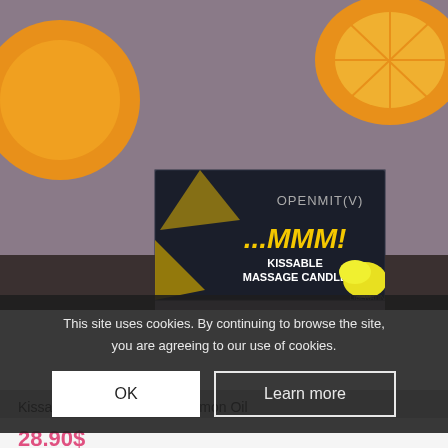[Figure (photo): Product photo of OpenMit(v) ...MMM! Kissable Massage Candle with lemon/citrus background. Dark packaging with yellow branding text and citrus fruit imagery surrounding it.]
This site uses cookies. By continuing to browse the site, you are agreeing to our use of cookies.
OK
Learn more
Kissable Massage Candle Lemon Oil
28.90$